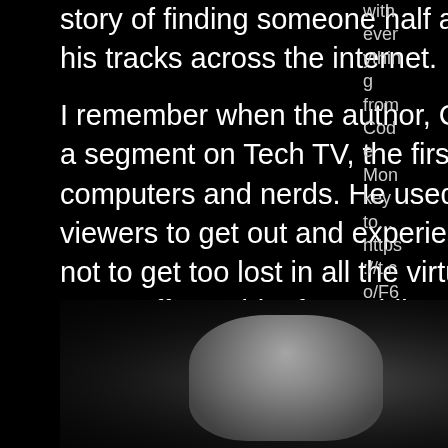story of finding someone half a world away through his tracks across the internet.
I remember when the author, Cliff Stoll used to have a segment on Tech TV, the first network devoted to computers and nerds. He used to plead with the viewers to get out and experience the real world and not to get too lost in all the virtual nonsense. He came off as a bit of a Luddite to most viewers, but if you read his book, you knew he was one of the best hackers around.
with everything from Code Monkey to... https://t.co/F6Kl248xYu about 5 months ago
[Figure (photo): Black and white photograph of a person (presumably Cliff Stoll) with curly hair sitting in front of computer equipment]